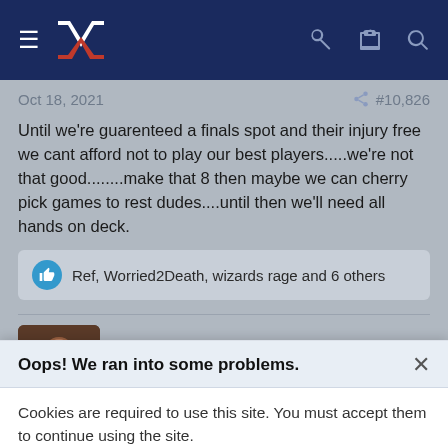NVZ forum navigation bar
Oct 18, 2021  #10,826
Until we're guarenteed a finals spot and their injury free we cant afford not to play our best players.....we're not that good........make that 8 then maybe we can cherry pick games to rest dudes....until then we'll need all hands on deck.
Ref, Worried2Death, wizards rage and 6 others
ajofbrisbane
Oops! We ran into some problems.
Cookies are required to use this site. You must accept them to continue using the site.